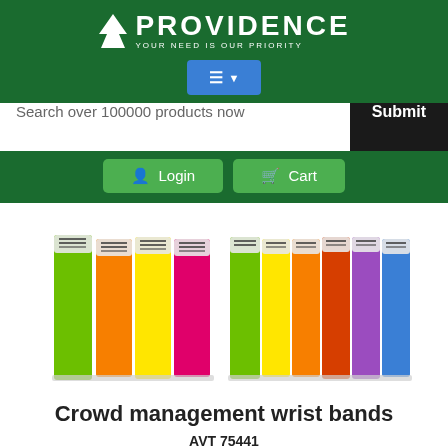PROVIDENCE YOUR NEED IS OUR PRIORITY
[Figure (screenshot): Navigation menu button with hamburger icon and dropdown arrow, blue button on green background]
Search over 100000 products now
Login  Cart
[Figure (photo): Colorful crowd management wrist bands in multiple colors: green, orange, yellow, pink/magenta, green, yellow, orange, red/orange, purple, blue]
Crowd management wrist bands
AVT 75441
$ 10.85